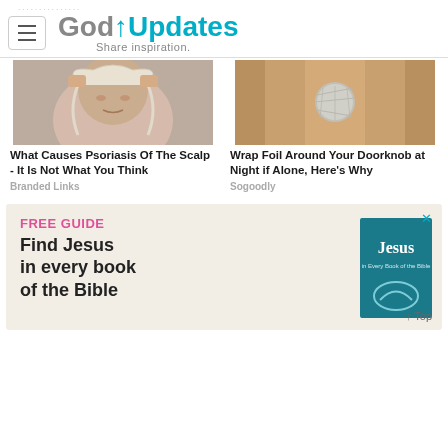GodUpdates — Share inspiration.
[Figure (photo): Older woman with grey hair holding her head in distress, scratching her scalp]
What Causes Psoriasis Of The Scalp - It Is Not What You Think
Branded Links
[Figure (photo): Close-up of a door handle wrapped in aluminium foil]
Wrap Foil Around Your Doorknob at Night if Alone, Here's Why
Sogoodly
[Figure (illustration): Advertisement banner: FREE GUIDE - Find Jesus in every book of the Bible, with a teal book cover showing 'Jesus in Every Book of the Bible']